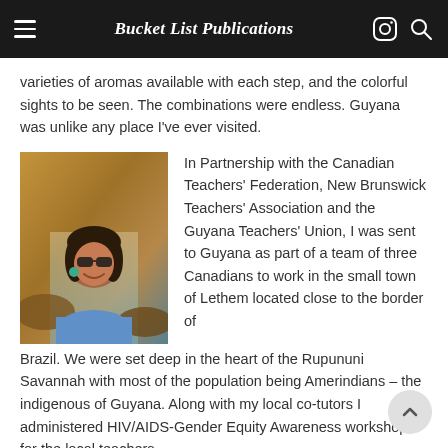Bucket List Publications
varieties of aromas available with each step, and the colorful sights to be seen. The combinations were endless. Guyana was unlike any place I've ever visited.
[Figure (photo): A woman wearing sunglasses and a blue top smiling in front of a waterfall]
In Partnership with the Canadian Teachers' Federation, New Brunswick Teachers' Association and the Guyana Teachers' Union, I was sent to Guyana as part of a team of three Canadians to work in the small town of Lethem located close to the border of Brazil. We were set deep in the heart of the Rupununi Savannah with most of the population being Amerindians – the indigenous of Guyana. Along with my local co-tutors I administered HIV/AIDS-Gender Equity Awareness workshops for the local teachers.